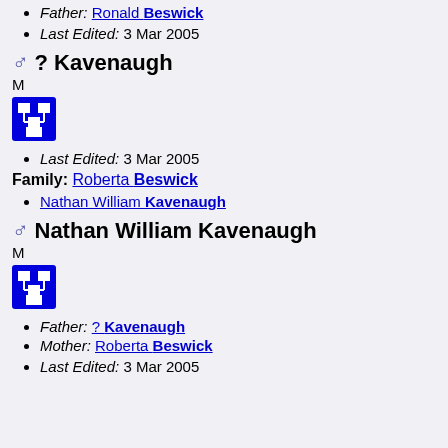Father: Ronald Beswick
Last Edited: 3 Mar 2005
♂ ? Kavenaugh
M
Last Edited: 3 Mar 2005
Family: Roberta Beswick
Nathan William Kavenaugh
♂ Nathan William Kavenaugh
M
Father: ? Kavenaugh
Mother: Roberta Beswick
Last Edited: 3 Mar 2005